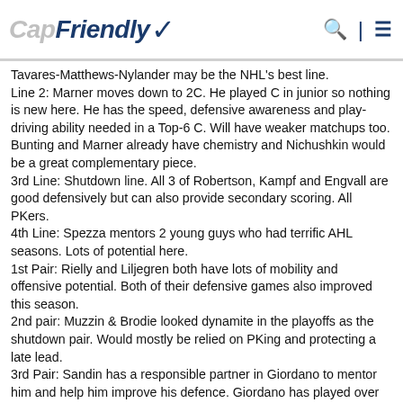CapFriendly
Tavares-Matthews-Nylander may be the NHL's best line.
Line 2: Marner moves down to 2C. He played C in junior so nothing is new here. He has the speed, defensive awareness and play-driving ability needed in a Top-6 C. Will have weaker matchups too. Bunting and Marner already have chemistry and Nichushkin would be a great complementary piece.
3rd Line: Shutdown line. All 3 of Robertson, Kampf and Engvall are good defensively but can also provide secondary scoring. All PKers.
4th Line: Spezza mentors 2 young guys who had terrific AHL seasons. Lots of potential here.
1st Pair: Rielly and Liljegren both have lots of mobility and offensive potential. Both of their defensive games also improved this season.
2nd pair: Muzzin & Brodie looked dynamite in the playoffs as the shutdown pair. Would mostly be relied on PKing and protecting a late lead.
3rd Pair: Sandin has a responsible partner in Giordano to mentor him and help him improve his defence. Giordano has played over 1,000 games so the right side shouldn't be a huge challenge.
Goalies: Soup proved that he can be a starter in this league. Kallgren played well in a small sample size - will battle with Woll for backup job I'm assuming.
Depth: Simmonds and Dahlstrom there for injuries. Will be sent down